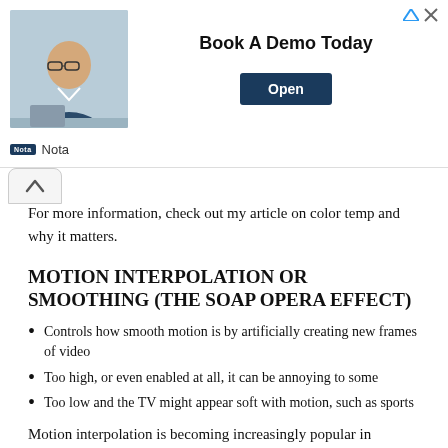[Figure (other): Advertisement banner: man in glasses sitting at desk, 'Book A Demo Today' text with dark blue 'Open' button, Nota logo at bottom]
For more information, check out my article on color temp and why it matters.
MOTION INTERPOLATION OR SMOOTHING (THE SOAP OPERA EFFECT)
Controls how smooth motion is by artificially creating new frames of video
Too high, or even enabled at all, it can be annoying to some
Too low and the TV might appear soft with motion, such as sports
Motion interpolation is becoming increasingly popular in